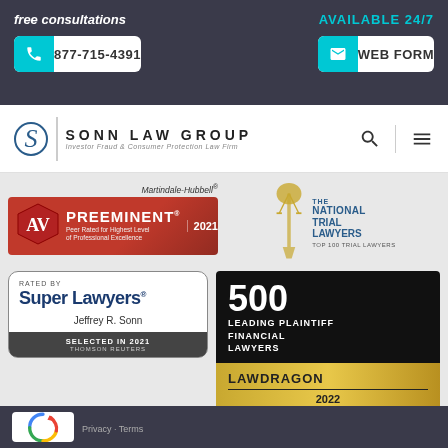free consultations
AVAILABLE 24/7
877-715-4391
WEB FORM
[Figure (logo): Sonn Law Group logo with S emblem and tagline: Investor Fraud & Consumer Protection Law Firm]
[Figure (logo): Martindale-Hubbell AV Preeminent 2021 badge - Peer Rated for Highest Level of Professional Excellence]
[Figure (logo): The National Trial Lawyers Top 100 Trial Lawyers badge with scales of justice figure]
[Figure (logo): Rated by Super Lawyers - Jeffrey R. Sonn - Selected in 2021 Thomson Reuters]
[Figure (logo): 500 Leading Plaintiff Financial Lawyers - Lawdragon 2022]
Privacy · Terms